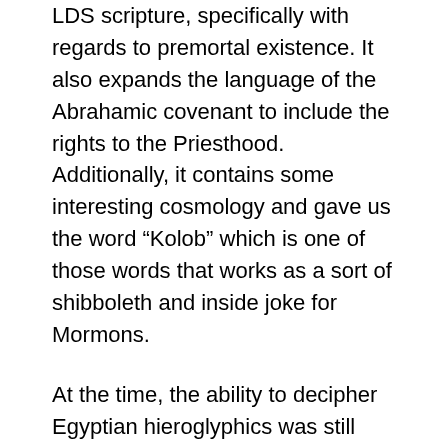LDS scripture, specifically with regards to premortal existence. It also expands the language of the Abrahamic covenant to include the rights to the Priesthood. Additionally, it contains some interesting cosmology and gave us the word “Kolob” which is one of those words that works as a sort of shibboleth and inside joke for Mormons.
At the time, the ability to decipher Egyptian hieroglyphics was still developing, thanks to scholars who were studying the Rosetta Stone. It would not have been easy, maybe even impossible, to procure an academic translation of the scrolls.